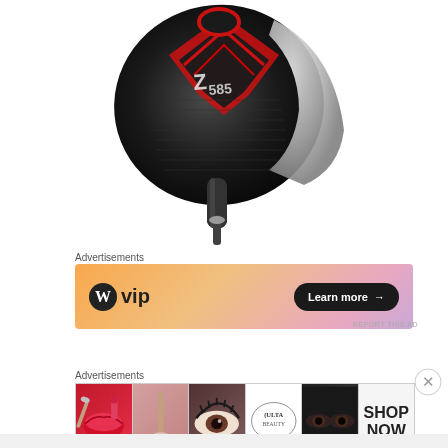[Figure (photo): Golf club driver head (Srixon Z 585) photographed from above showing black club face with red accents and silver hosel, top-down angle with white background]
Advertisements
[Figure (screenshot): WordPress VIP advertisement banner with orange/pink gradient background showing WordPress W logo, 'vip' text, and 'Learn more →' button]
REPORT THIS AD
Advertisements
[Figure (screenshot): Ulta Beauty advertisement strip showing five panels: red lips with makeup brush, makeup brush, eye with lashes, Ulta Beauty logo, close-up eyes, and SHOP NOW text]
REPORT THIS AD